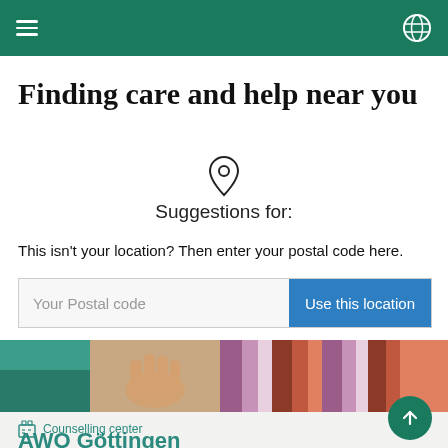Finding care and help near you
Suggestions for:
This isn't your location? Then enter your postal code here.
[Figure (screenshot): Input row with 'Your Postalcode' placeholder text field and blue 'Use this location' button]
[Figure (photo): Colorful photo strip showing hands and striped fabric in teal, peach, purple, and red tones]
Counselling center
AWO Göttingen